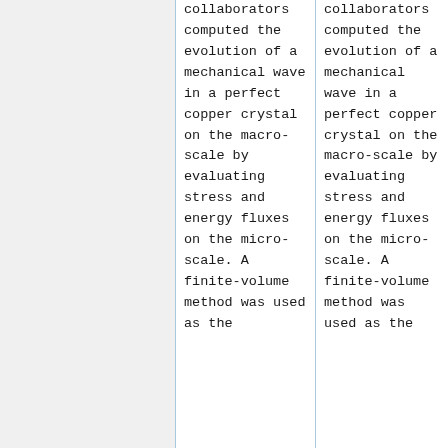collaborators computed the evolution of a mechanical wave in a perfect copper crystal on the macro-scale by evaluating stress and energy fluxes on the micro-scale. A finite-volume method was used as the
collaborators computed the evolution of a mechanical wave in a perfect copper crystal on the macro-scale by evaluating stress and energy fluxes on the micro-scale. A finite-volume method was used as the